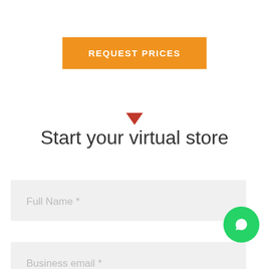[Figure (other): Orange 'REQUEST PRICES' button]
[Figure (other): Red downward arrow icon]
Start your virtual store
Full Name *
Business email *
[Figure (other): WhatsApp floating green circle button with phone icon]